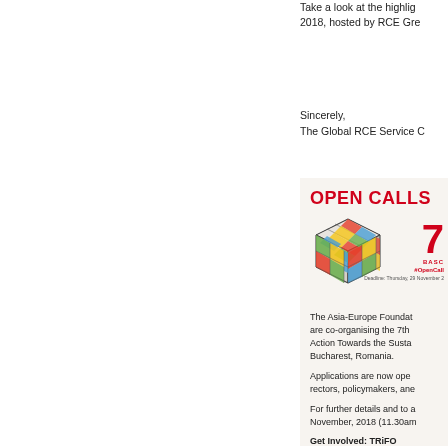Take a look at the highlights of the RCE Conference 2018, hosted by RCE Gre
Sincerely,
The Global RCE Service C
OPEN CALLS
[Figure (illustration): Rubik's cube illustration next to a large red number 7 with BASC label, #OpenCall hashtag and deadline text]
The Asia-Europe Foundation are co-organising the 7th Action Towards the Susta Bucharest, Romania.
Applications are now ope rectors, policymakers, and
For further details and to November, 2018 (11.30am
Get Involved: TRiFO